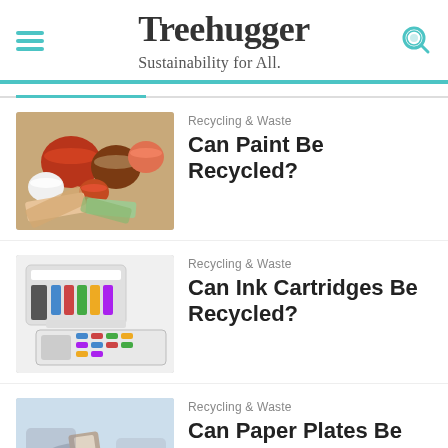Treehugger — Sustainability for All.
Recycling & Waste — Can Paint Be Recycled?
Recycling & Waste — Can Ink Cartridges Be Recycled?
Recycling & Waste — Can Paper Plates Be Recycled? Composting and Other Eco-